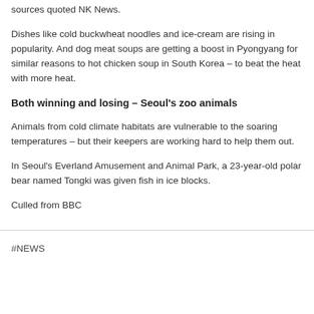sources quoted NK News.
Dishes like cold buckwheat noodles and ice-cream are rising in popularity. And dog meat soups are getting a boost in Pyongyang for similar reasons to hot chicken soup in South Korea – to beat the heat with more heat.
Both winning and losing – Seoul's zoo animals
Animals from cold climate habitats are vulnerable to the soaring temperatures – but their keepers are working hard to help them out.
In Seoul's Everland Amusement and Animal Park, a 23-year-old polar bear named Tongki was given fish in ice blocks.
Culled from BBC
#NEWS